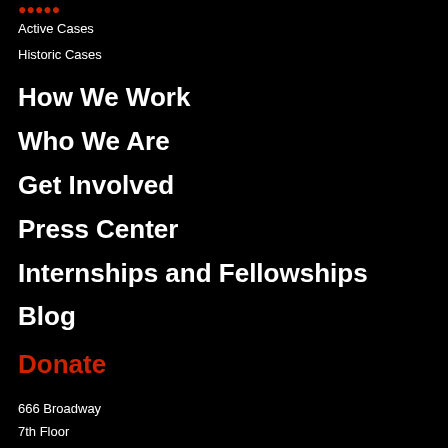Active Cases
Historic Cases
How We Work
Who We Are
Get Involved
Press Center
Internships and Fellowships
Blog
Donate
666 Broadway
7th Floor
New York, NY 10012